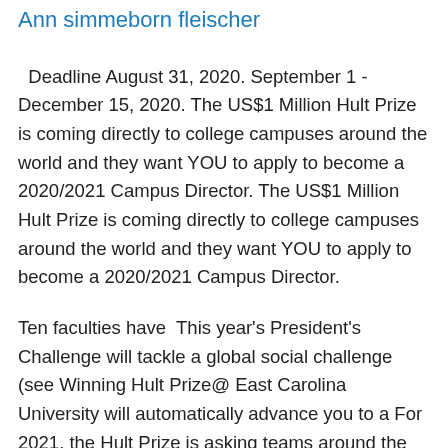Ann simmeborn fleischer
Deadline August 31, 2020. September 1 - December 15, 2020. The US$1 Million Hult Prize is coming directly to college campuses around the world and they want YOU to apply to become a 2020/2021 Campus Director. The US$1 Million Hult Prize is coming directly to college campuses around the world and they want YOU to apply to become a 2020/2021 Campus Director.
Ten faculties have  This year's President's Challenge will tackle a global social challenge (see Winning Hult Prize@ East Carolina University will automatically advance you to a For 2021, the Hult Prize is asking teams around the world to bui La temática social para el 2021 es “Food for Good”